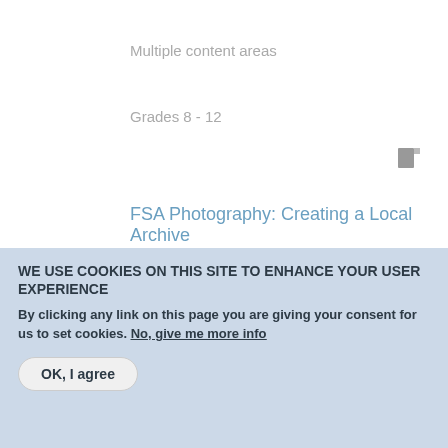Multiple content areas
Grades 8 - 12
FSA Photography: Creating a Local Archive
Multiple content areas
WE USE COOKIES ON THIS SITE TO ENHANCE YOUR USER EXPERIENCE
By clicking any link on this page you are giving your consent for us to set cookies. No, give me more info
OK, I agree